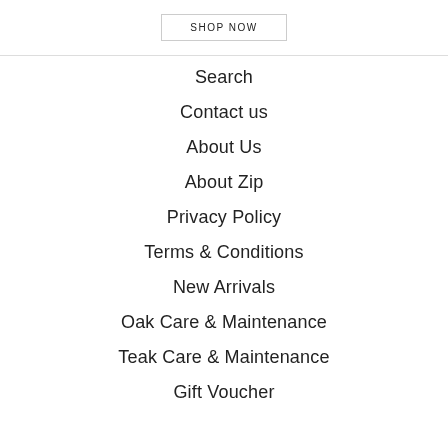SHOP NOW
Search
Contact us
About Us
About Zip
Privacy Policy
Terms & Conditions
New Arrivals
Oak Care & Maintenance
Teak Care & Maintenance
Gift Voucher